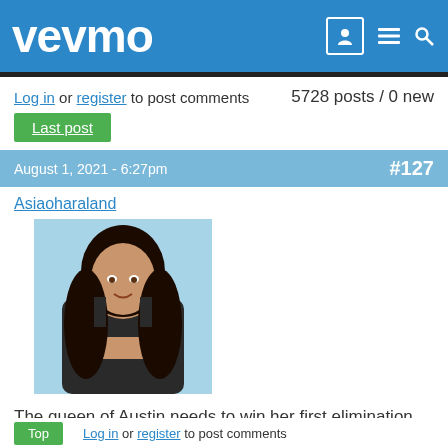vevmo
Log in or register to post comments   5728 posts / 0 new
Last post
August 1, 2021 - 6:27pm   #127
Asiaoharaland
[Figure (photo): Avatar photo of a young woman with long dark hair wearing a dark sports bra, posed against a light blue background]
The queen of Austin needs to win her first elimination and make her first final ♥
Top   Log in or register to post comments